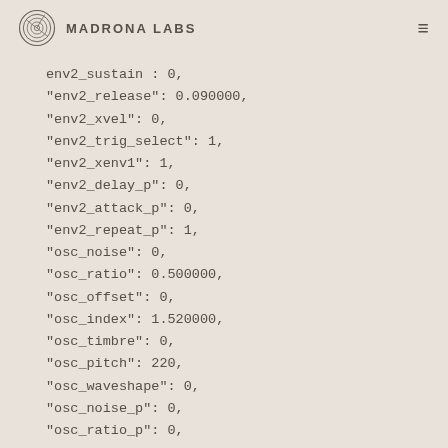Madrona Labs
env2_sustain : 0,
"env2_release": 0.090000,
"env2_xvel": 0,
"env2_trig_select": 1,
"env2_xenv1": 1,
"env2_delay_p": 0,
"env2_attack_p": 0,
"env2_repeat_p": 1,
"osc_noise": 0,
"osc_ratio": 0.500000,
"osc_offset": 0,
"osc_index": 1.520000,
"osc_timbre": 0,
"osc_pitch": 220,
"osc_waveshape": 0,
"osc_noise_p": 0,
"osc_ratio_p": 0,